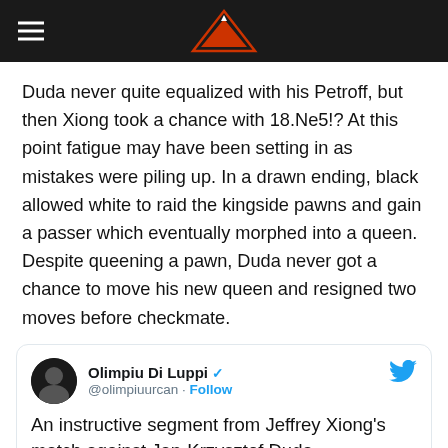thechessbrainz logo and navigation
Duda never quite equalized with his Petroff, but then Xiong took a chance with 18.Ne5!? At this point fatigue may have been setting in as mistakes were piling up. In a drawn ending, black allowed white to raid the kingside pawns and gain a passer which eventually morphed into a queen. Despite queening a pawn, Duda never got a chance to move his new queen and resigned two moves before checkmate.
[Figure (screenshot): Tweet by Olimpiu Di Luppi (@olimpiuurcan) with verified badge and Follow button. Tweet text: 'An instructive segment from Jeffrey Xiong's match against Jan-Krzysztof Duda. chess24.com/en/watch/live-...']